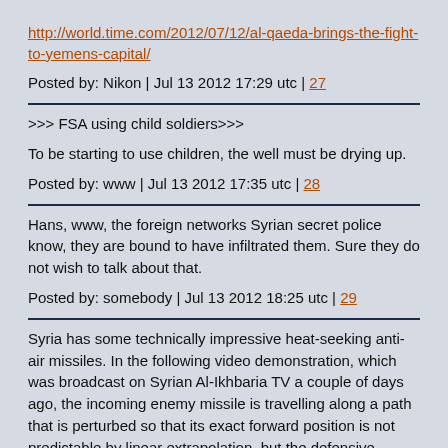http://world.time.com/2012/07/12/al-qaeda-brings-the-fight-to-yemens-capital/
Posted by: Nikon | Jul 13 2012 17:29 utc | 27
>>> FSA using child soldiers>>>
To be starting to use children, the well must be drying up.
Posted by: www | Jul 13 2012 17:35 utc | 28
Hans, www, the foreign networks Syrian secret police know, they are bound to have infiltrated them. Sure they do not wish to talk about that.
Posted by: somebody | Jul 13 2012 18:25 utc | 29
Syria has some technically impressive heat-seeking anti-air missiles. In the following video demonstration, which was broadcast on Syrian Al-Ikhbaria TV a couple of days ago, the incoming enemy missile is travelling along a path that is perturbed so that its exact forward position is not predictable by linear extrapolation, but the defensive missile has the agile ability to crash into it by pursuing of the infrared emissions of the enemy missile.